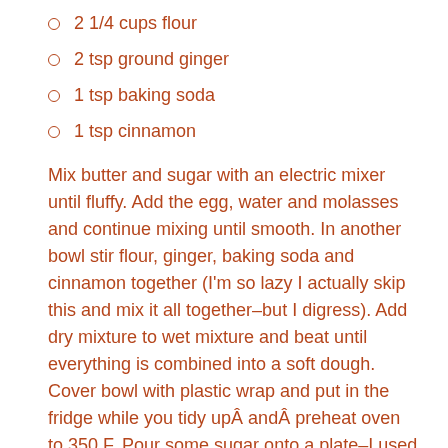2 1/4 cups flour
2 tsp ground ginger
1 tsp baking soda
1 tsp cinnamon
Mix butter and sugar with an electric mixer until fluffy. Add the egg, water and molasses and continue mixing until smooth. In another bowl stir flour, ginger, baking soda and cinnamon together (I'm so lazy I actually skip this and mix it all together–but I digress). Add dry mixture to wet mixture and beat until everything is combined into a soft dough. Cover bowl with plastic wrap and put in the fridge while you tidy upÂ andÂ preheat oven to 350 F. Pour some sugar onto a plate–I used fine granulated sugar– Pull the dough out of the fridge and start rolling the dough into 1-1.5 inch little balls. Roll the dough balls in the sugar and place on an ungreased cookie sheet. Bake for 8-10 minutes. They will